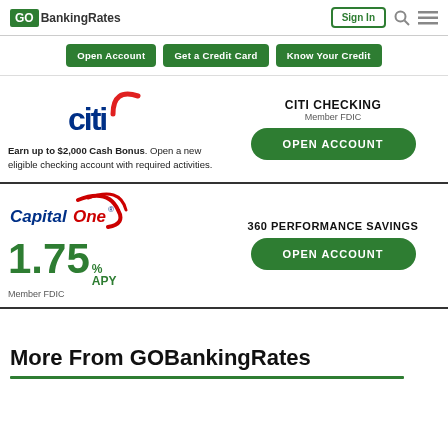GOBankingRates — Sign In
[Figure (infographic): Navigation bar with three green buttons: Open Account, Get a Credit Card, Know Your Credit]
[Figure (infographic): Citi Checking advertisement with Citi logo, earn up to $2,000 Cash Bonus text, OPEN ACCOUNT button, Member FDIC]
[Figure (infographic): Capital One 360 Performance Savings advertisement showing 1.75% APY, Member FDIC, and OPEN ACCOUNT button]
More From GOBankingRates